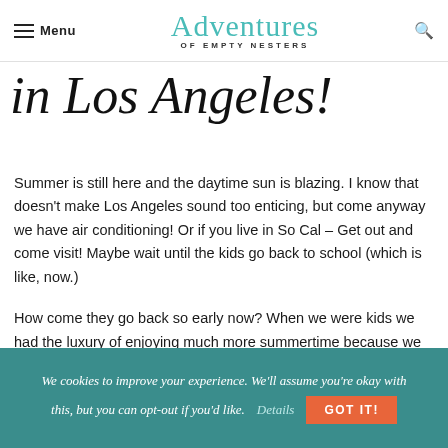Menu | Adventures of Empty Nesters
in Los Angeles!
Summer is still here and the daytime sun is blazing. I know that doesn't make Los Angeles sound too enticing, but come anyway we have air conditioning! Or if you live in So Cal – Get out and come visit! Maybe wait until the kids go back to school (which is like, now.)
How come they go back so early now? When we were kids we had the luxury of enjoying much more summertime because we returned to school after Labor Day.
We cookies to improve your experience. We'll assume you're okay with this, but you can opt-out if you'd like. Details GOT IT!